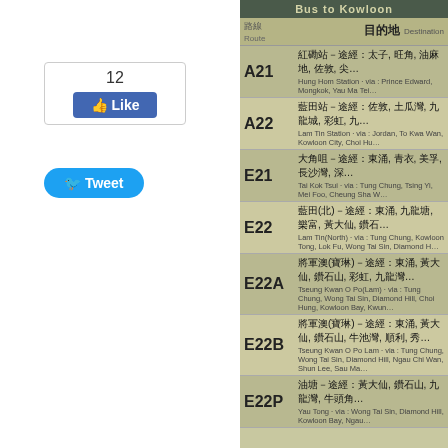[Figure (photo): Facebook Like button box showing count of 12 and blue Like button]
[Figure (photo): Blue Twitter Tweet button]
[Figure (photo): Hong Kong bus stop sign showing bus routes to Kowloon: A21, A22, E21, E22, E22A, E22B, E22P with Chinese and English destination text]
different bus r
[Figure (photo): Bottom photo strip showing trees and partial view of a bus]